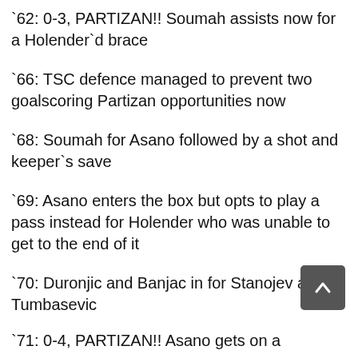`62: 0-3, PARTIZAN!! Soumah assists now for a Holender`d brace
`66: TSC defence managed to prevent two goalscoring Partizan opportunities now
`68: Soumah for Asano followed by a shot and keeper`s save
`69: Asano enters the box but opts to play a pass instead for Holender who was unable to get to the end of it
`70: Duronjic and Banjac in for Stanojev and Tumbasevic
`71: 0-4, PARTIZAN!! Asano gets on a